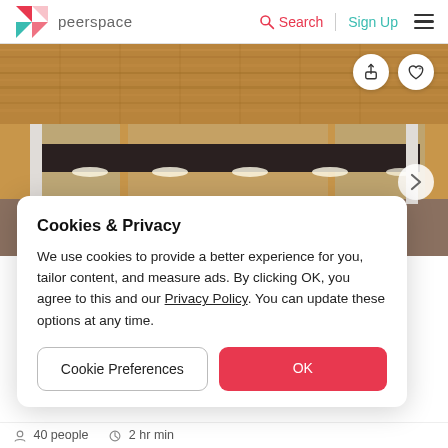peerspace  Search  Sign Up
[Figure (photo): Interior photo of a venue with wooden ceiling panels and glass partition walls, lit from below with strip lighting. Shows a modern event/meeting space.]
Cookies & Privacy

We use cookies to provide a better experience for you, tailor content, and measure ads. By clicking OK, you agree to this and our Privacy Policy. You can update these options at any time.
Cookie Preferences    OK
40 people   2 hr min